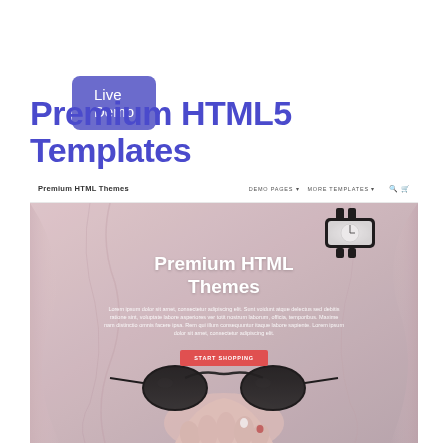Live Demo
Premium HTML5 Templates
[Figure (screenshot): Screenshot of a premium HTML themes website with navigation bar showing 'Premium HTML Themes' brand and 'DEMO PAGES' and 'MORE TEMPLATES' links, and a hero section with a pink/mauve fabric background showing a hand holding sunglasses and wearing a watch. Hero text reads 'Premium HTML Themes' with lorem ipsum paragraph and a red 'START SHOPPING' button.]